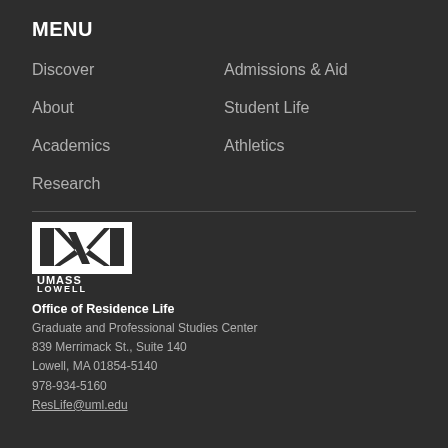MENU
Discover
Admissions & Aid
About
Student Life
Academics
Athletics
Research
[Figure (logo): UMass Lowell logo — white M-shaped graphic with UMASS LOWELL text below]
Office of Residence Life
Graduate and Professional Studies Center
839 Merrimack St., Suite 140
Lowell, MA 01854-5140
978-934-5160
ResLife@uml.edu